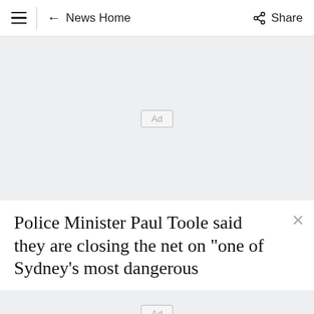≡  ← News Home  ⋮ Share
[Figure (other): Advertisement placeholder box with 'Ad' label on light grey background]
Police Minister Paul Toole said they are closing the net on "one of Sydney's most dangerous
[Figure (other): Advertisement placeholder box with 'Ad' label on light grey background]